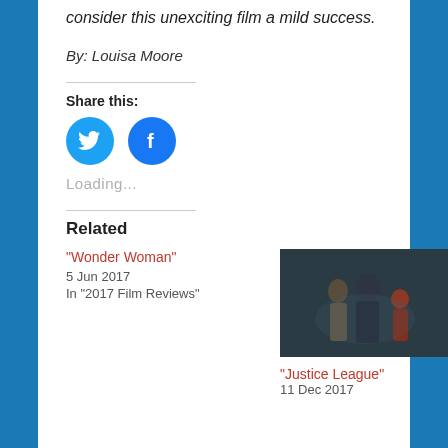consider this unexciting film a mild success.
By: Louisa Moore
Share this:
[Figure (illustration): Twitter bird icon (white on cyan circle) and Facebook 'f' icon (white on blue circle)]
Loading...
Related
“Wonder Woman”
5 Jun 2017
In "2017 Film Reviews"
[Figure (photo): Scene from Justice League: superheroes including Wonder Woman, Batman, and The Flash standing together in a dimly lit environment]
“Justice League”
11 Dec 2017